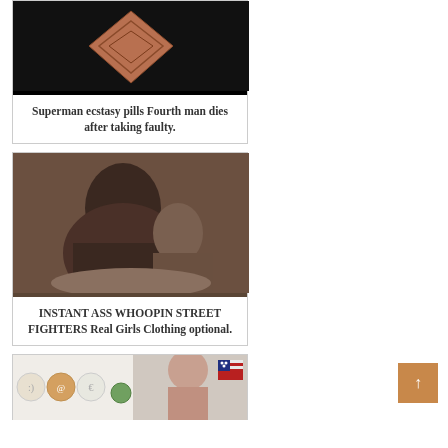[Figure (photo): Superman ecstasy pill with embossed Superman logo on dark background]
Superman ecstasy pills Fourth man dies after taking faulty.
[Figure (photo): Two people fighting on the ground outdoors]
INSTANT ASS WHOOPIN STREET FIGHTERS Real Girls Clothing optional.
[Figure (photo): Ecstasy pills and a woman with US flag badge]
[Figure (other): Orange scroll-to-top button with up arrow]